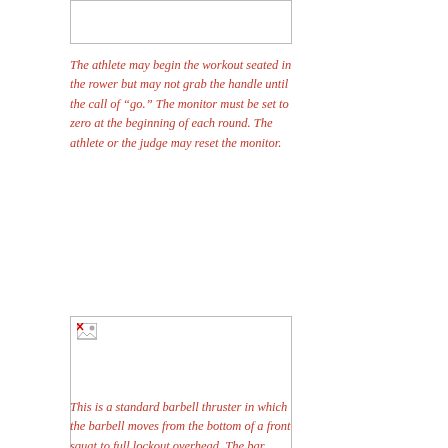[Figure (photo): Partial image box at top of page (image not loaded, broken icon visible)]
The athlete may begin the workout seated in the rower but may not grab the handle until the call of "go." The monitor must be set to zero at the beginning of each round. The athlete or the judge may reset the monitor.
[Figure (photo): Standard barbell thruster movement image (broken/placeholder shown)]
This is a standard barbell thruster in which the barbell moves from the bottom of a front squat to full lockout overhead. The bar starts on the ground. No racks allowed. The hip crease must pass below